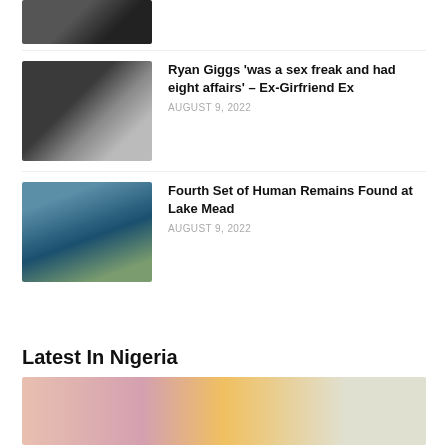[Figure (photo): Partial thumbnail of a person at the top of the page (cropped)]
[Figure (photo): Photo of Ryan Giggs and a woman]
Ryan Giggs ‘was a sex freak and had eight affairs’ – Ex-Girfriend Ex
AUGUST 9, 2022
[Figure (photo): Aerial photo of Lake Mead]
Fourth Set of Human Remains Found at Lake Mead
AUGUST 9, 2022
Latest In Nigeria
[Figure (photo): Person with pink hair and sunglasses, another person taking a photo in background]